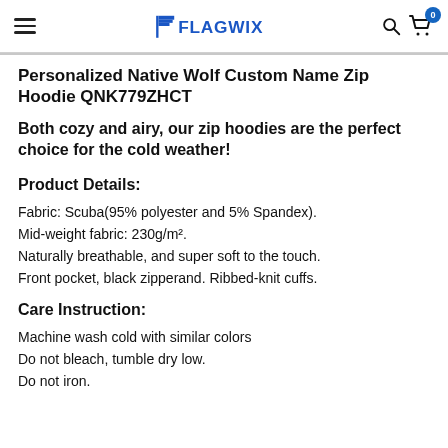FLAGWIX
Personalized Native Wolf Custom Name Zip Hoodie QNK779ZHCT
Both cozy and airy, our zip hoodies are the perfect choice for the cold weather!
Product Details:
Fabric: Scuba(95% polyester and 5% Spandex). Mid-weight fabric: 230g/m². Naturally breathable, and super soft to the touch. Front pocket, black zipperand. Ribbed-knit cuffs.
Care Instruction:
Machine wash cold with similar colors
Do not bleach, tumble dry low.
Do not iron.